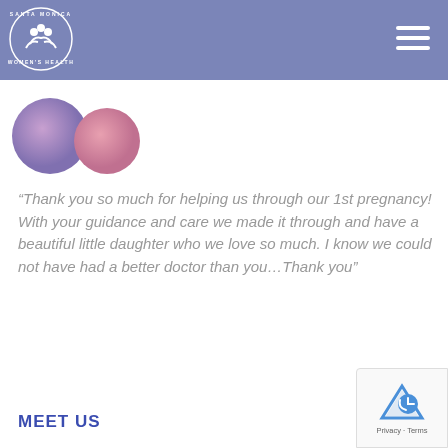Santa Monica Women's Health
[Figure (logo): Santa Monica Women's Health circular logo with white figures and text on purple/blue background]
[Figure (illustration): Two large decorative quotation mark circles in purple/pink gradient]
“Thank you so much for helping us through our 1st pregnancy! With your guidance and care we made it through and have a beautiful little daughter who we love so much. I know we could not have had a better doctor than you…Thank you”
MEET US
[Figure (other): Google reCAPTCHA badge with Privacy and Terms links]